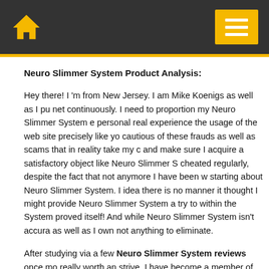Home | Menu
Neuro Slimmer System Product Analysis:
Hey there! I 'm from New Jersey. I am Mike Koenigs as well as I pu net continuously. I need to proportion my Neuro Slimmer System e personal real experience the usage of the web site precisely like yo cautious of these frauds as well as scams that in reality take my c and make sure I acquire a satisfactory object like Neuro Slimmer S cheated regularly, despite the fact that not anymore I have been w starting about Neuro Slimmer System. I idea there is no manner it thought I might provide Neuro Slimmer System a try to within the System proved itself! And while Neuro Slimmer System isn't accura as well as I own not anything to eliminate.
After studying via a few Neuro Slimmer System reviews once mo really worth an strive. I have become a member of Neuro Slimmer